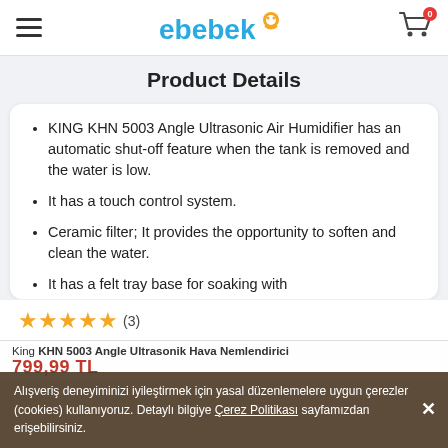ebebek header with hamburger menu and cart
Product Details
KING KHN 5003 Angle Ultrasonic Air Humidifier has an automatic shut-off feature when the tank is removed and the water is low.
It has a touch control system.
Ceramic filter; It provides the opportunity to soften and clean the water.
It has a felt tray base for soaking with
★★★★★ (3)
King KHN 5003 Angle Ultrasonik Hava Nemlendirici 799,99 TL
Alışveriş deneyiminizi iyileştirmek için yasal düzenlemelere uygun çerezler (cookies) kullanıyoruz. Detaylı bilgiye Çerez Politikası sayfamızdan erişebilirsiniz.